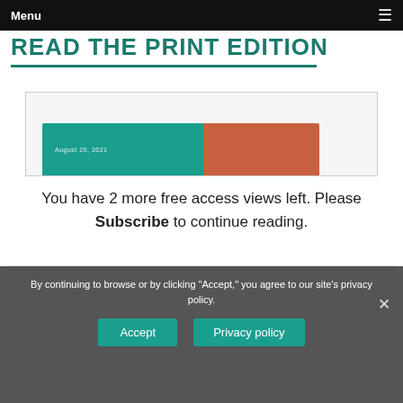Menu
READ THE PRINT EDITION
[Figure (other): Partially visible magazine cover with teal and brown coloring, showing a date of August 26, 2021]
You have 2 more free access views left. Please Subscribe to continue reading.
Login
Subscribe
By continuing to browse or by clicking "Accept," you agree to our site's privacy policy.
Accept
Privacy policy